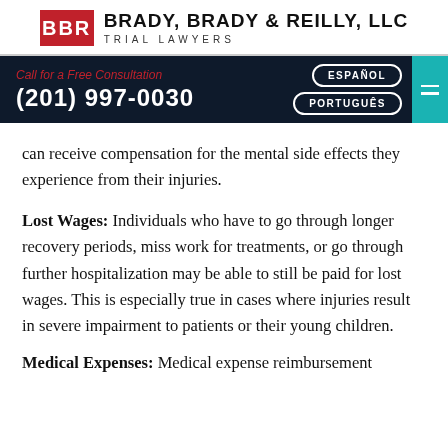BRADY, BRADY & REILLY, LLC | TRIAL LAWYERS
[Figure (screenshot): Navigation bar with call to action 'Call for a Free Consultation', phone number (201) 997-0030, language buttons ESPAÑOL and PORTUGUÊS, and hamburger menu on teal background]
can receive compensation for the mental side effects they experience from their injuries.
Lost Wages: Individuals who have to go through longer recovery periods, miss work for treatments, or go through further hospitalization may be able to still be paid for lost wages. This is especially true in cases where injuries result in severe impairment to patients or their young children.
Medical Expenses: Medical expense reimbursement